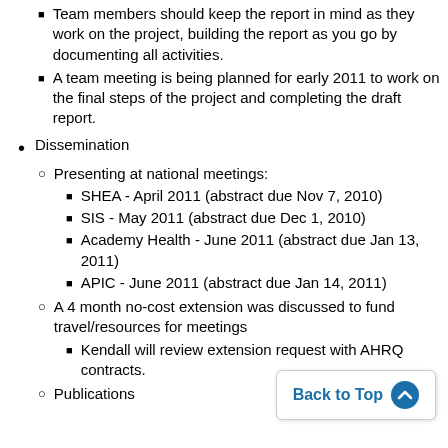Team members should keep the report in mind as they work on the project, building the report as you go by documenting all activities.
A team meeting is being planned for early 2011 to work on the final steps of the project and completing the draft report.
Dissemination
Presenting at national meetings:
SHEA - April 2011 (abstract due Nov 7, 2010)
SIS - May 2011 (abstract due Dec 1, 2010)
Academy Health - June 2011 (abstract due Jan 13, 2011)
APIC - June 2011 (abstract due Jan 14, 2011)
A 4 month no-cost extension was discussed to fund travel/resources for meetings
Kendall will review extension request with AHRQ contracts.
Publications